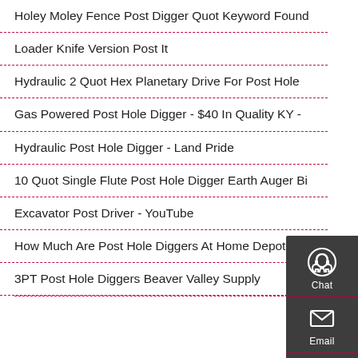Holey Moley Fence Post Digger Quot Keyword Found
Loader Knife Version Post It
Hydraulic 2 Quot Hex Planetary Drive For Post Hole
Gas Powered Post Hole Digger - $40 In Quality KY -
Hydraulic Post Hole Digger - Land Pride
10 Quot Single Flute Post Hole Digger Earth Auger Bi
Excavator Post Driver - YouTube
How Much Are Post Hole Diggers At Home Depot
3PT Post Hole Diggers Beaver Valley Supply
[Figure (infographic): Dark grey side panel with three sections: Chat (headset icon), Email (envelope icon), Contact (speech bubble icon), separated by red lines]